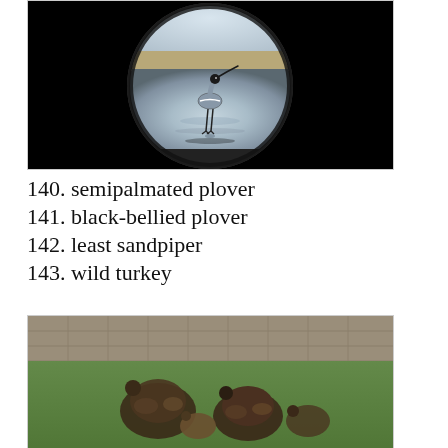[Figure (photo): A wading bird (avocet or similar shorebird) standing in shallow water, viewed through a spotting scope or binoculars, giving a circular fisheye vignette on a black background.]
140. semipalmated plover
141. black-bellied plover
142. least sandpiper
143. wild turkey
[Figure (photo): Wild turkeys on green grass near a paved area or walkway. Several dark brown/black birds visible grouped together.]